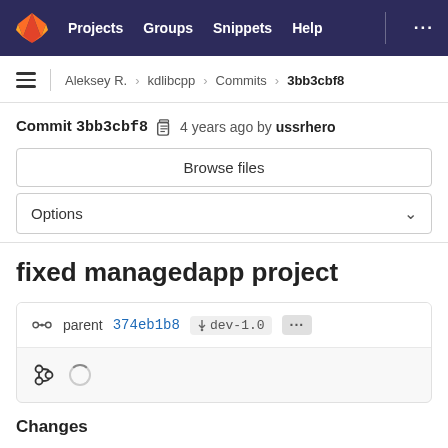Projects  Groups  Snippets  Help  ...
Aleksey R. > kdlibcpp > Commits > 3bb3cbf8
Commit 3bb3cbf8  4 years ago by ussrhero
Browse files
Options
fixed managedapp project
parent 374eb1b8  dev-1.0  ...
Changes